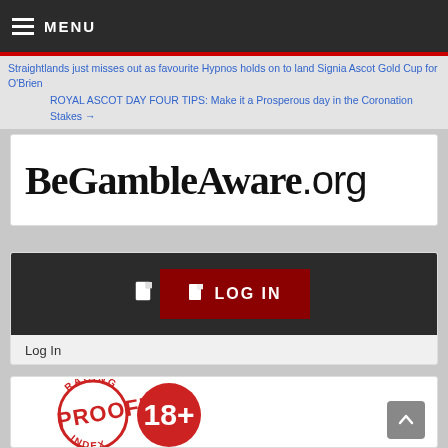MENU
Straightlands just misses out as favourite Hypnos holds on to land Signia Ascot Gold Cup for O'Brien
ROYAL ASCOT DAY FOUR TIPS: Make it a Prosperous day in the Coronation Stakes →
[Figure (logo): BeGambleAware.org logo — bold serif text reading BeGambleAware.org]
[Figure (screenshot): Login panel with dark background and dark red LOG IN button with document icon]
Log In
[Figure (illustration): Racing Index Proofed circular stamp logo in red, and a red circle with 18+ text]